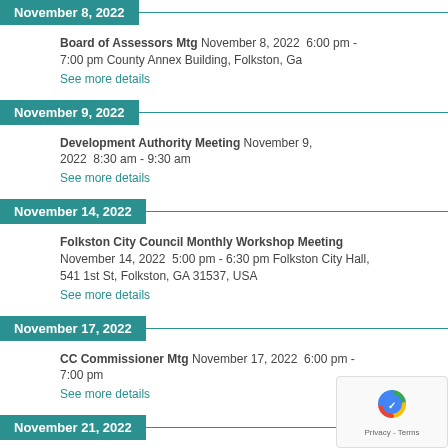November 8, 2022
Board of Assessors Mtg November 8, 2022 6:00 pm - 7:00 pm County Annex Building, Folkston, Ga
See more details
November 9, 2022
Development Authority Meeting November 9, 2022 8:30 am - 9:30 am
See more details
November 14, 2022
Folkston City Council Monthly Workshop Meeting November 14, 2022 5:00 pm - 6:30 pm Folkston City Hall, 541 1st St, Folkston, GA 31537, USA
See more details
November 17, 2022
CC Commissioner Mtg November 17, 2022 6:00 pm - 7:00 pm
See more details
November 21, 2022